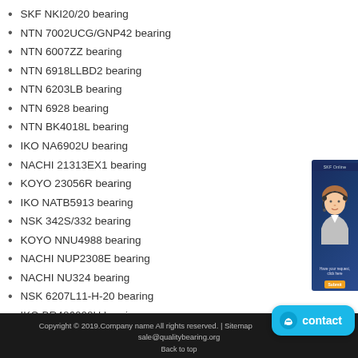SKF NKI20/20 bearing
NTN 7002UCG/GNP42 bearing
NTN 6007ZZ bearing
NTN 6918LLBD2 bearing
NTN 6203LB bearing
NTN 6928 bearing
NTN BK4018L bearing
IKO NA6902U bearing
NACHI 21313EX1 bearing
KOYO 23056R bearing
IKO NATB5913 bearing
NSK 342S/332 bearing
KOYO NNU4988 bearing
NACHI NUP2308E bearing
NACHI NU324 bearing
NSK 6207L11-H-20 bearing
IKO BR486028U bearing
[Figure (illustration): Customer service representative sidebar image with headset, on dark blue background with orange button]
Copyright © 2019.Company name All rights reserved. | Sitemap  ail: sale@qualitybearing.org
Back to top
[Figure (illustration): Blue contact button with chat icon]